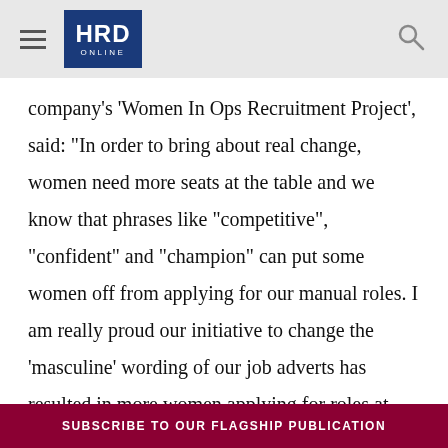HRD ONLINE
company's ‘Women In Ops Recruitment Project’, said: “In order to bring about real change, women need more seats at the table and we know that phrases like “competitive”, “confident” and “champion” can put some women off from applying for our manual roles. I am really proud our initiative to change the ‘masculine’ wording of our job adverts has resulted in more women applying for roles at
SUBSCRIBE TO OUR FLAGSHIP PUBLICATION